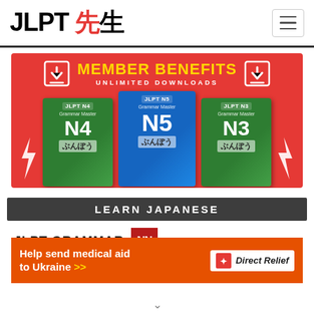JLPT 先生
[Figure (illustration): Member Benefits banner advertising unlimited downloads with JLPT N4, N5, N3 grammar books on a red background]
LEARN JAPANESE
JLPT GRAMMAR
[Figure (logo): NN logo in dark red square]
[Figure (infographic): Direct Relief orange advertisement banner: Help send medical aid to Ukraine >>]